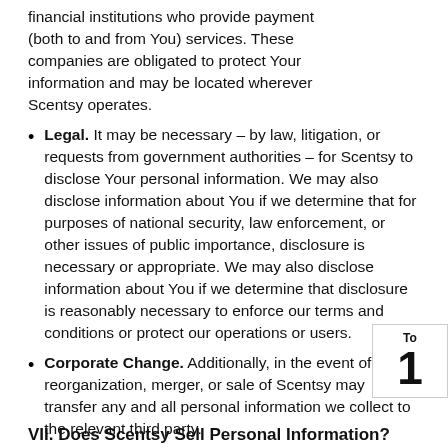financial institutions who provide payment (both to and from You) services. These companies are obligated to protect Your information and may be located wherever Scentsy operates.
Legal. It may be necessary – by law, litigation, or requests from government authorities – for Scentsy to disclose Your personal information. We may also disclose information about You if we determine that for purposes of national security, law enforcement, or other issues of public importance, disclosure is necessary or appropriate. We may also disclose information about You if we determine that disclosure is reasonably necessary to enforce our terms and conditions or protect our operations or users.
Corporate Change. Additionally, in the event of a reorganization, merger, or sale of Scentsy may transfer any and all personal information we collect to the relevant third party.
VII. Does Scentsy Sell Personal Information?